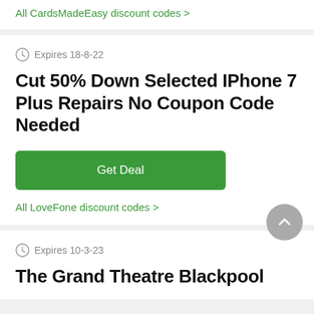All CardsMadeEasy discount codes >
Expires 18-8-22
Cut 50% Down Selected IPhone 7 Plus Repairs No Coupon Code Needed
Get Deal
All LoveFone discount codes >
Expires 10-3-23
The Grand Theatre Blackpool